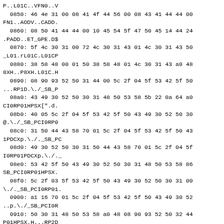P..L01C..VFN0..V
  0850: 46 4e 31 00 08 41 4f 44 56 00 08 43 41 44 44 00
FN1..AODV..CADD.
  0860: 08 50 41 44 44 00 10 45 54 5f 47 50 45 14 44 24
.PADD..ET_GPE.D$
  0870: 5f 4c 30 31 00 72 4c 30 31 43 01 4c 30 31 43 50
_L01.rL01C.L01CP
  0880: 38 58 48 00 01 50 38 58 48 01 4c 30 31 43 a0 48
8XH..P8XH.L01C.H
  0890: 08 90 93 52 50 31 44 00 5c 2f 04 5f 53 42 5f 50
...RP1D.\/._SB_P
  08a0: 43 49 30 52 50 30 31 48 50 53 58 5b 22 0a 64 a0
CI0RP01HPSX[".d.
  08b0: 40 05 5c 2f 04 5f 53 42 5f 50 43 49 30 52 50 30
@.\/._SB_PCI0RP0
  08c0: 31 50 44 43 58 70 01 5c 2f 04 5f 53 42 5f 50 43
1PDCXp.\/._SB_PC
  08d0: 49 30 52 50 30 31 50 44 43 58 70 01 5c 2f 04 5f
I0RP01PDCXp.\/_
  08e0: 53 42 5f 50 43 49 30 52 50 30 31 48 50 53 58 86
SB_PCI0RP01HPSX.
  08f0: 5c 2f 03 5f 53 42 5f 50 43 49 30 52 50 30 31 00
\/._ SB_PCI0RP01.
  0900: a1 16 70 01 5c 2f 04 5f 53 42 5f 50 43 49 30 52
..p.\/._SB_PCI0R
  0910: 50 30 31 48 50 53 58 a0 48 08 90 93 52 50 32 44
P01HPSX.H...RP2D
  0920: 00 5c 2f 04 5f 53 42 5f 50 43 49 30 52 50 30 32
.\/._SB_PCI0RP02
  0930: 48 50 53 58 5b 22 0a 64 a0 40 05 5c 2f 04 5f 53
HPSX[".d.@.\/._S